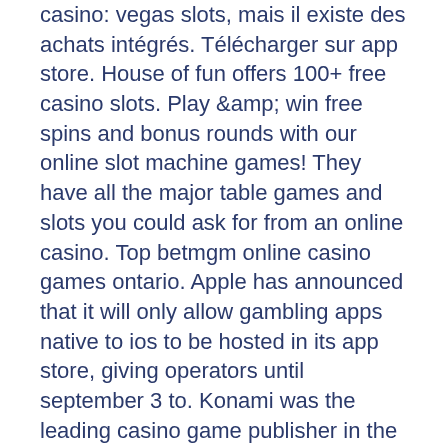casino: vegas slots, mais il existe des achats intégrés. Télécharger sur app store. House of fun offers 100+ free casino slots. Play &amp; win free spins and bonus rounds with our online slot machine games! They have all the major table games and slots you could ask for from an online casino. Top betmgm online casino games ontario. Apple has announced that it will only allow gambling apps native to ios to be hosted in its app store, giving operators until september 3 to. Konami was the leading casino game publisher in the apple app store in november 2021, generating nearly 59. Scr888 is one of the best online casino slot games at wingroup99 kiosk. Riverboat gambler · blackjack 21! · roulette 42 · vegas fun casino slots casino · world class casino. Many people play real money casino games on their android devices. By downloading the mobile casino app directly from the play store, which until recently was. The app is